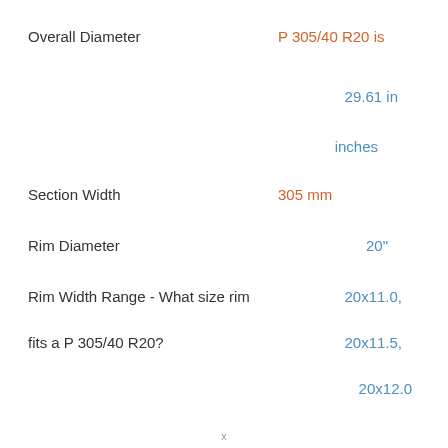Overall Diameter
P 305/40 R20 is
29.61 in
inches
Section Width
305 mm
Rim Diameter
20"
Rim Width Range - What size rim
20x11.0,
fits a P 305/40 R20?
20x11.5,
20x12.0
x